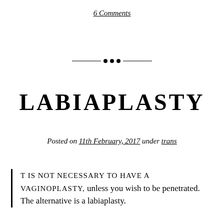6 Comments
[Figure (illustration): Decorative horizontal divider with ornamental dots in the center]
LABIAPLASTY
Posted on 11th February, 2017 under trans
IT IS NOT NECESSARY TO HAVE A VAGINOPLASTY, unless you wish to be penetrated. The alternative is a labiaplasty.